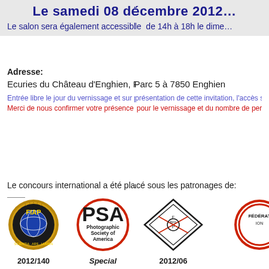Le samedi 08 décembre 2012…
Le salon sera également accessible  de 14h à 18h le dime…
Adresse:
Ecuries du Château d'Enghien, Parc 5 à 7850 Enghien
Entrée libre le jour du vernissage et sur présentation de cette invitation, l'accès s…
Merci de nous confirmer votre présence pour le vernissage et du nombre de pers…
Le concours international a été placé sous les patronages de:
[Figure (logo): FIAP logo - gold/black badge with globe, text SCIENTIA·ARS·LUMEN, 2012/140]
[Figure (logo): PSA - Photographic Society of America logo, red circle, Special label]
[Figure (logo): FBFFP logo - diamond shape with camera symbol, 2012/06]
[Figure (logo): Fourth federation logo - partially visible red circular badge]